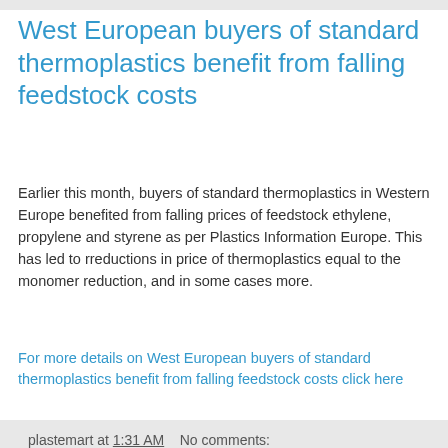West European buyers of standard thermoplastics benefit from falling feedstock costs
Earlier this month, buyers of standard thermoplastics in Western Europe benefited from falling prices of feedstock ethylene, propylene and styrene as per Plastics Information Europe. This has led to rreductions in price of thermoplastics equal to the monomer reduction, and in some cases more.
For more details on West European buyers of standard thermoplastics benefit from falling feedstock costs click here
plastemart at 1:31 AM   No comments:
Turkish government permits SOCAR to build new refinery at Petkim